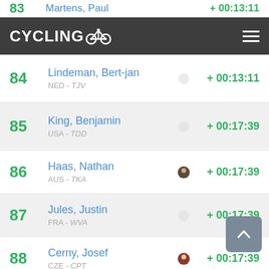83 Martens, Paul + 00:13:11
CYCLINGOO navigation bar
84 Lindeman, Bert-jan NED - TJV + 00:13:11
85 King, Benjamin USA - TDD + 00:17:39
86 Haas, Nathan AUS - TKA + 00:17:39
87 Jules, Justin FRA - WVA + 00:17:39
88 Cerny, Josef CZE - CPT + 00:17:39
89 Gogl, Michael AUT - TES + 00:17:39